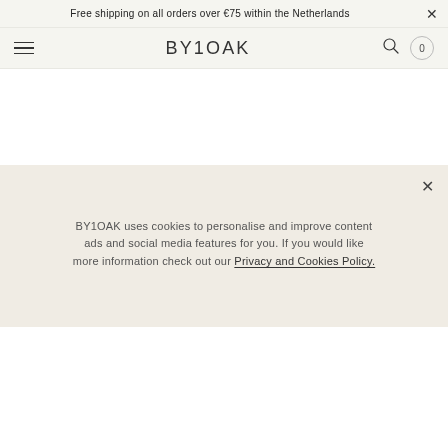Free shipping on all orders over €75 within the Netherlands
BY1OAK
[Figure (photo): White ceramic or porcelain arch/bowl product photographed on white background, viewed from front showing curved silhouette]
BY1OAK uses cookies to personalise and improve content ads and social media features for you. If you would like more information check out our Privacy and Cookies Policy.